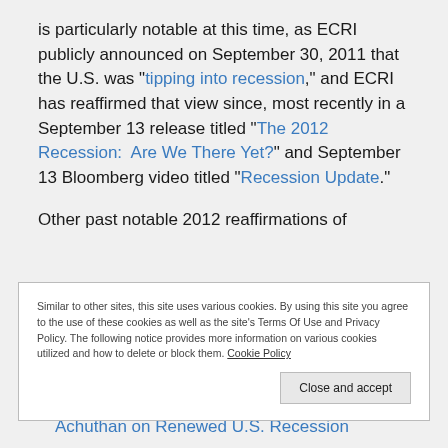is particularly notable at this time, as ECRI publicly announced on September 30, 2011 that the U.S. was “tipping into recession,” and ECRI has reaffirmed that view since, most recently in a September 13 release titled “The 2012 Recession: Are We There Yet?” and September 13 Bloomberg video titled “Recession Update.”
Other past notable 2012 reaffirmations of
Similar to other sites, this site uses various cookies. By using this site you agree to the use of these cookies as well as the site’s Terms Of Use and Privacy Policy. The following notice provides more information on various cookies utilized and how to delete or block them. Cookie Policy
the week of May 6, including and statements
Bloomberg video, May 9: “Lakshman Achuthan on Renewed U.S. Recession